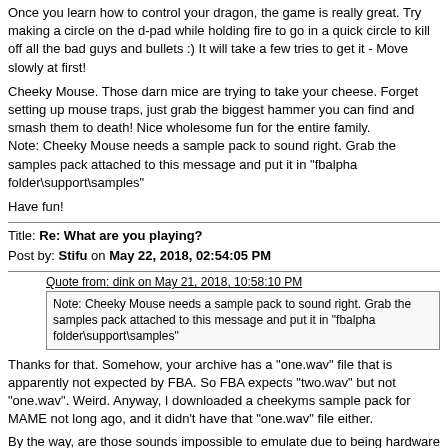Once you learn how to control your dragon, the game is really great. Try making a circle on the d-pad while holding fire to go in a quick circle to kill off all the bad guys and bullets :) It will take a few tries to get it - Move slowly at first!
Cheeky Mouse. Those darn mice are trying to take your cheese. Forget setting up mouse traps, just grab the biggest hammer you can find and smash them to death! Nice wholesome fun for the entire family.
Note: Cheeky Mouse needs a sample pack to sound right. Grab the samples pack attached to this message and put it in "fbalpha folder\support\samples"
Have fun!
Title: Re: What are you playing?
Post by: Stifu on May 22, 2018, 02:54:05 PM
Quote from: dink on May 21, 2018, 10:58:10 PM
Note: Cheeky Mouse needs a sample pack to sound right. Grab the samples pack attached to this message and put it in "fbalpha folder\support\samples"
Thanks for that. Somehow, your archive has a "one.wav" file that is apparently not expected by FBA. So FBA expects "two.wav" but not "one.wav". Weird. Anyway, I downloaded a cheekyms sample pack for MAME not long ago, and it didn't have that "one.wav" file either.
By the way, are those sounds impossible to emulate due to being hardware based or something?